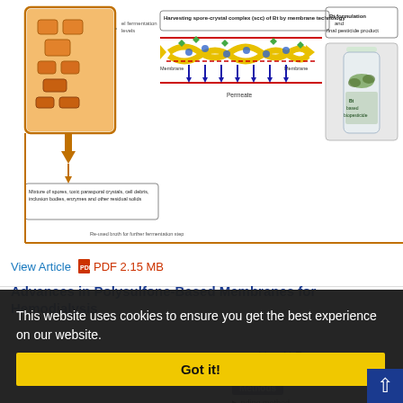[Figure (illustration): Scientific diagram showing a fermentation process with membrane technology for harvesting spore-crystal complex (scc) of Bt. Shows a fermentation tank on the left with orange/brown coloring and cell contents, connected to a membrane filtration system in the center (showing molecules passing through membrane with permeate below), and on the right a Bt formulation bottle with a caterpillar image, labeled as 'Bt based biopesticide'. Text labels include: 'Harvesting spore-crystal complex (scc) of Bt by membrane technology', 'Mixture of spores, toxic parasporal crystals, cell debris, inclusion bodies, enzymes and other residual solids', 'Re-used broth for further fermentation step', 'Membrane', 'Permeate', 'Bt formulation and final pesticide product']
View Article   PDF 2.15 MB
Advances in Polysulfone-Based Membranes for Hemodialysis
This website uses cookies to ensure you get the best experience on our website.
Got it!
akim; N.F.
nding method
sma treatment
face coating and
hemical polymeriza
Preadsorption
Methods